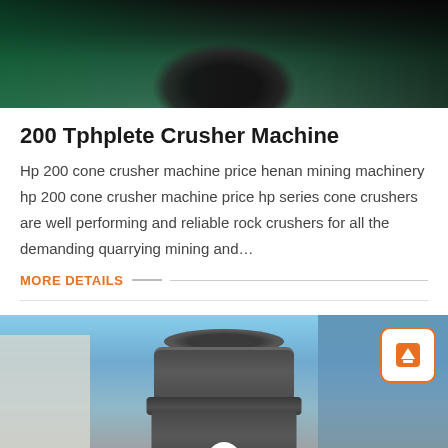[Figure (photo): Top portion of industrial crusher machine with teal/dark background]
200 Tphplete Crusher Machine
Hp 200 cone crusher machine price henan mining machinery hp 200 cone crusher machine price hp series cone crushers are well performing and reliable rock crushers for all the demanding quarrying mining and…
MORE DETAILS
[Figure (photo): Industrial cone crusher machine photographed outdoors with building and blue sky in background. Orange scroll-to-top button in top right corner.]
Get Quotation
Online Chat